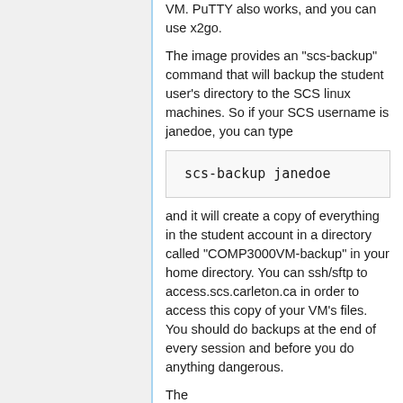VM. PuTTY also works, and you can use x2go.
The image provides an "scs-backup" command that will backup the student user's directory to the SCS linux machines. So if your SCS username is janedoe, you can type
and it will create a copy of everything in the student account in a directory called "COMP3000VM-backup" in your home directory. You can ssh/sftp to access.scs.carleton.ca in order to access this copy of your VM's files. You should do backups at the end of every session and before you do anything dangerous.
The...